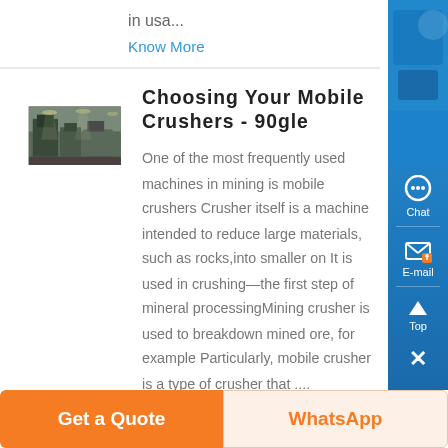in usa...
Know More
Choosing Your Mobile Crushers - 90gle
[Figure (photo): Industrial machinery/crusher equipment inside a factory building]
One of the most frequently used machines in mining is mobile crushers Crusher itself is a machine intended to reduce large materials, such as rocks,into smaller on It is used in crushing—the first step of mineral processingMining crusher is used to breakdown mined ore, for example Particularly, mobile crusher is a type of crusher that ....
Get a Quote
WhatsApp